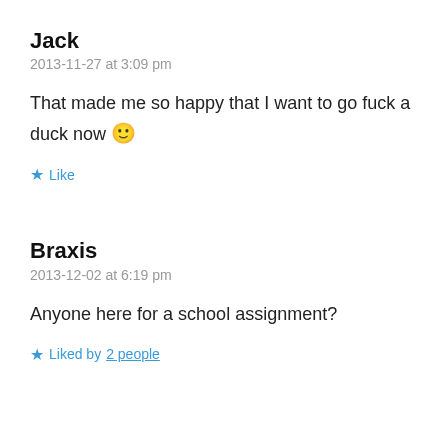Jack
2013-11-27 at 3:09 pm
That made me so happy that I want to go fuck a duck now 🙂
★ Like
Braxis
2013-12-02 at 6:19 pm
Anyone here for a school assignment?
★ Liked by 2 people